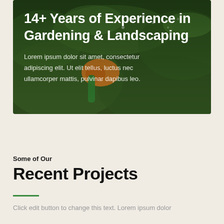[Figure (photo): Hero banner photo of gardening/watering with an orange and green spray nozzle, green plants and water droplets in background, overlaid with dark semi-transparent gradient]
14+ Years of Experience in Gardening & Landscaping
Lorem ipsum dolor sit amet, consectetur adipiscing elit. Ut elit tellus, luctus nec ullamcorper mattis, pulvinar dapibus leo.
Some of Our
Recent Projects
Click edit button to change this text. Lorem ipsum dolor